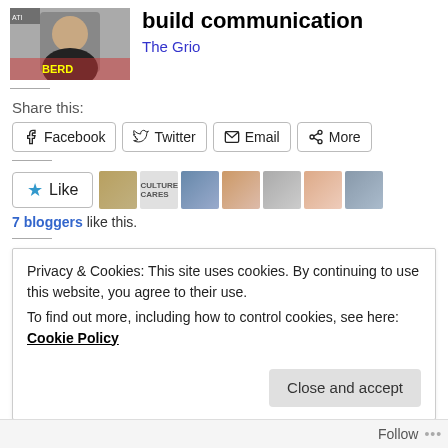[Figure (photo): Portrait photo of a woman smiling, wearing a black shirt, in front of a colorful background]
build communication
The Grio
Share this:
Facebook  Twitter  Email  More
Like
7 bloggers like this.
Privacy & Cookies: This site uses cookies. By continuing to use this website, you agree to their use.
To find out more, including how to control cookies, see here: Cookie Policy
Close and accept
Follow